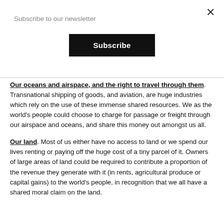Subscribe to our newsletter
Subscribe
Our oceans and airspace, and the right to travel through them. Transnational shipping of goods, and aviation, are huge industries which rely on the use of these immense shared resources. We as the world's people could choose to charge for passage or freight through our airspace and oceans, and share this money out amongst us all.
Our land. Most of us either have no access to land or we spend our lives renting or paying off the huge cost of a tiny parcel of it. Owners of large areas of land could be required to contribute a proportion of the revenue they generate with it (in rents, agricultural produce or capital gains) to the world's people, in recognition that we all have a shared moral claim on the land.